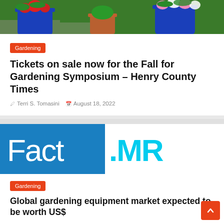[Figure (photo): Photo of blue pots and terracotta pot with colorful flowers and green plants in a garden setting]
Gardening
Tickets on sale now for the Fall for Gardening Symposium – Henry County Times
Terri S. Tomasini   August 18, 2022
[Figure (logo): Fact.MR logo — 'Fact' in white text on blue background, '.MR' in cyan text on white background]
Gardening
Global gardening equipment market expected to be worth US$